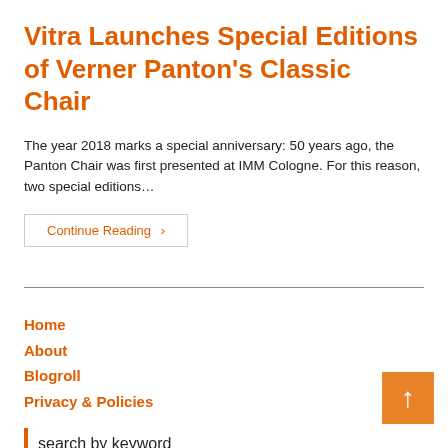Vitra Launches Special Editions of Verner Panton's Classic Chair
The year 2018 marks a special anniversary: 50 years ago, the Panton Chair was first presented at IMM Cologne. For this reason, two special editions…
Continue Reading ›
Home
About
Blogroll
Privacy & Policies
search by keyword